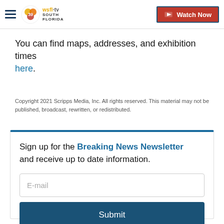WSFL-TV South Florida | Watch Now
You can find maps, addresses, and exhibition times here.
Copyright 2021 Scripps Media, Inc. All rights reserved. This material may not be published, broadcast, rewritten, or redistributed.
Sign up for the Breaking News Newsletter and receive up to date information.
E-mail
Submit